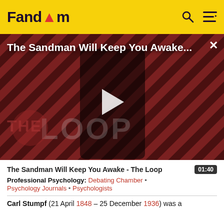Fandom
[Figure (screenshot): Video thumbnail for 'The Sandman Will Keep You Awake...' showing a figure in black against a red/dark diagonal striped background with 'THE LOOP' watermark and a play button overlay]
The Sandman Will Keep You Awake - The Loop  01:40
Professional Psychology: Debating Chamber • Psychology Journals • Psychologists
Carl Stumpf (21 April 1848 – 25 December 1936) was a